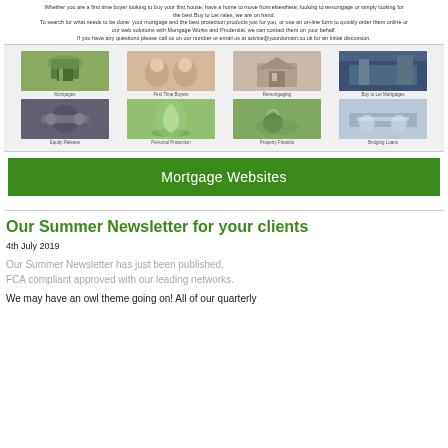Whether you are a first time buyer looking to buy your first house, have a home to move from elsewhere, looking to remortgage, or simply looking for the best Buy to Let rates, we are on hand.
To search for what needs to be done: your mortgage and the best protection products just for you, or use an on-line form to quickly order them online or our web solutions with Mortgage Works and Prudential, we can contact them on your behalf.
If you have any questions please call us on our number or email us at advice@yourdomain.co.uk for an initial discussion.
[Figure (photo): Grid of 8 financial services images: Mortgages, First Time Buyers, Remortgaging, Buy to Let Mortgages, Equity Release, Personal Protection, Property Finance, Bridging Loans]
Mortgage Websites
Our Summer Newsletter for your clients
4th July 2019
Our Summer Newsletter has just been published, FCA compliant approved with our leading networks.
We may have an owl theme going on! All of our quarterly